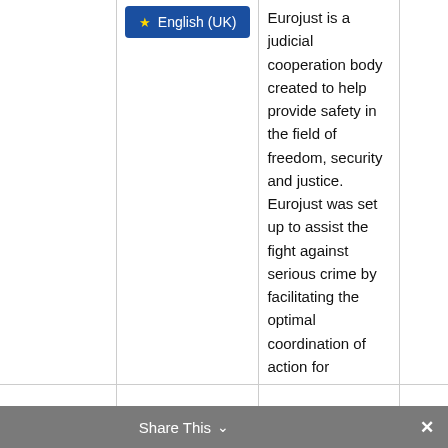[Figure (screenshot): Language selector button showing EU flag stars and 'English (UK)' label on dark blue background]
Judicial Cooperation
European Judicial Cooperation Unit (EUROJUST)
Eurojust is a judicial cooperation body created to help provide safety in the field of freedom, security and justice. Eurojust was set up to assist the fight against serious crime by facilitating the optimal coordination of action for investigations and
Share This ∨ ✕